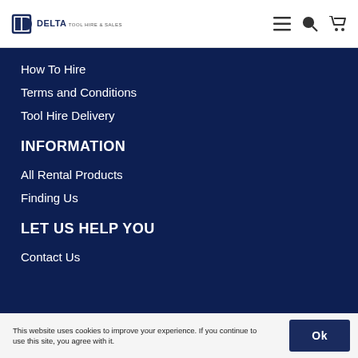DELTA TOOL HIRE & SALES
How To Hire
Terms and Conditions
Tool Hire Delivery
INFORMATION
All Rental Products
Finding Us
LET US HELP YOU
Contact Us
This website uses cookies to improve your experience. If you continue to use this site, you agree with it.